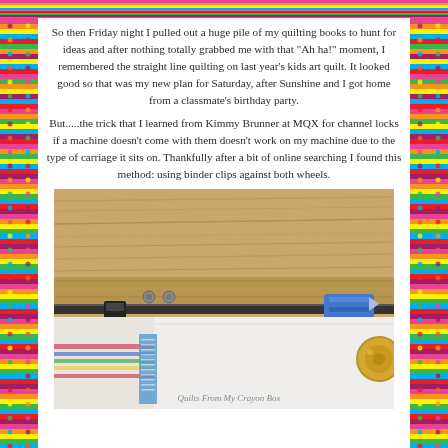[Figure (illustration): Colorful horizontal striped decorative border at the top of the page]
[Figure (illustration): Colorful horizontal striped decorative border on the left side of the page with dots pattern]
[Figure (illustration): Colorful horizontal striped decorative border on the right side of the page with dots pattern]
So then Friday night I pulled out a huge pile of my quilting books to hunt for ideas and after nothing totally grabbed me with that "Ah ha!" moment, I remembered the straight line quilting on last year's kids art quilt. It looked good so that was my new plan for Saturday, after Sunshine and I got home from a classmate's birthday party.
But.....the trick that I learned from Kimmy Brunner at MQX for channel locks if a machine doesn't come with them doesn't work on my machine due to the type of carriage it sits on. Thankfully after a bit of online searching I found this method: using binder clips against both wheels.
[Figure (photo): Photo of a quilting machine carriage with binder clips attached to wheels, showing a wooden frame/rail with binder clips and quilt fabric underneath. Watermark reads 'Quilts From My Crayon Box'.]